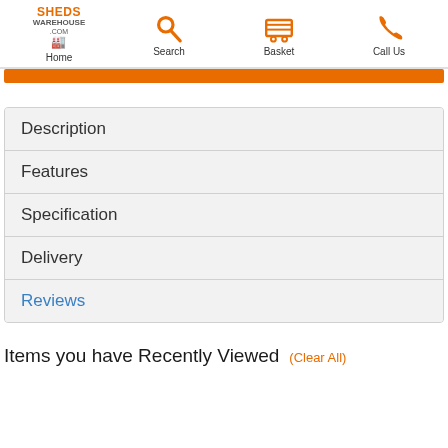Home | Search | Basket | Call Us
Description
Features
Specification
Delivery
Reviews
Items you have Recently Viewed
(Clear All)